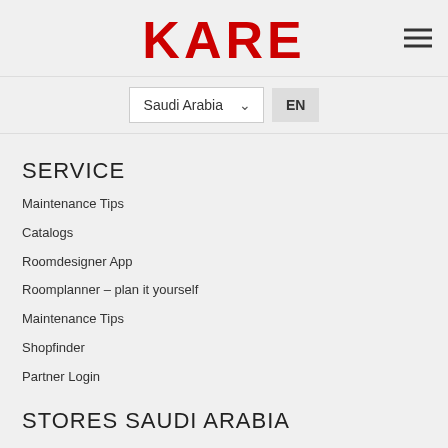KARE
Saudi Arabia  EN
SERVICE
Maintenance Tips
Catalogs
Roomdesigner App
Roomplanner – plan it yourself
Maintenance Tips
Shopfinder
Partner Login
STORES SAUDI ARABIA
Jeddah
Riyadh